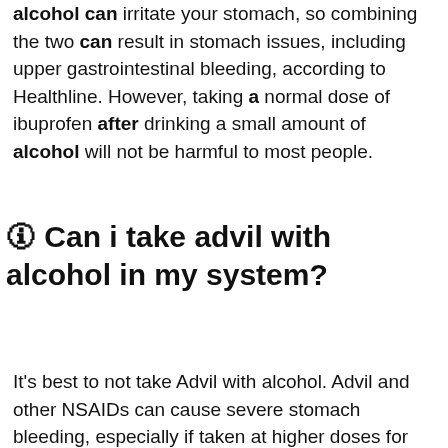alcohol can irritate your stomach, so combining the two can result in stomach issues, including upper gastrointestinal bleeding, according to Healthline. However, taking a normal dose of ibuprofen after drinking a small amount of alcohol will not be harmful to most people.
🛈 Can i take advil with alcohol in my system?
It's best to not take Advil with alcohol. Advil and other NSAIDs can cause severe stomach bleeding, especially if taken at higher doses for long periods.